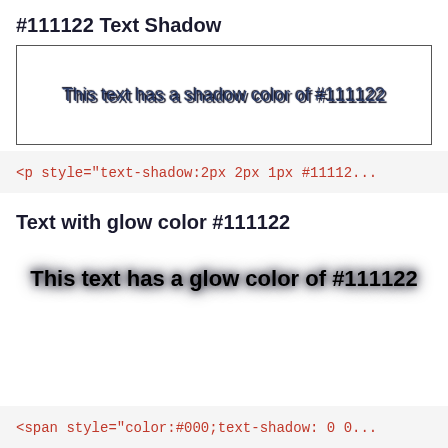#111122 Text Shadow
[Figure (other): Preview box showing text with text-shadow effect: 'This text has a shadow color of #111122']
<p style="text-shadow:2px 2px 1px #11112...
Text with glow color #111122
This text has a glow color of #111122
<span style="color:#000;text-shadow: 0 0...